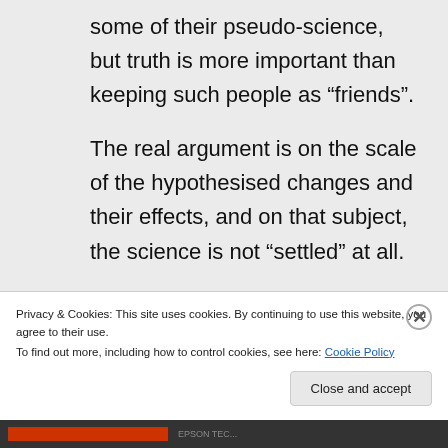some of their pseudo-science, but truth is more important than keeping such people as “friends”.
The real argument is on the scale of the hypothesised changes and their effects, and on that subject, the science is not “settled” at all.
↳ Reply
Privacy & Cookies: This site uses cookies. By continuing to use this website, you agree to their use.
To find out more, including how to control cookies, see here: Cookie Policy
Close and accept